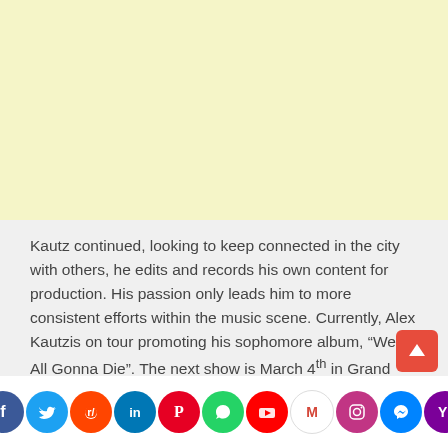[Figure (other): Yellow/cream colored advertisement block placeholder]
Kautz continued, looking to keep connected in the city with others, he edits and records his own content for production. His passion only leads him to more consistent efforts within the music scene. Currently, Alex Kautzis on tour promoting his sophomore album, “We’re All Gonna Die”. The next show is March 4th in Grand Prairie at the ‘Outta This World’ Concert Experience.
[Figure (infographic): Social media sharing icons bar: Facebook, Twitter, Reddit, LinkedIn, Pinterest, WhatsApp, YouTube, Gmail, Instagram, Messenger, Yahoo]